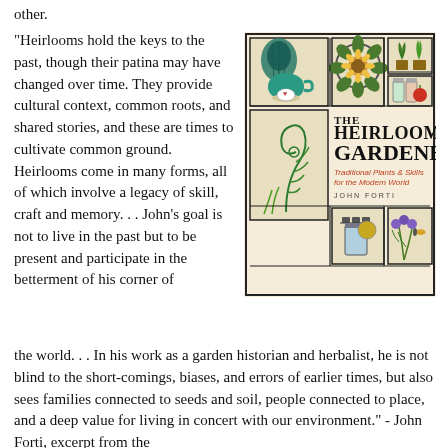other.
“Heirlooms hold the keys to the past, though their patina may have changed over time. They provide cultural context, common roots, and shared stories, and these are times to cultivate common ground. Heirlooms come in many forms, all of which involve a legacy of skill, craft and memory. . . John’s goal is not to live in the past but to be present and participate in the betterment of his corner of the world. . . In his work as a garden historian and herbalist, he is not blind to the short-comings, biases, and errors of earlier times, but also sees families connected to seeds and soil, people connected to place, and a deep value for living in concert with our environment.” - John Forti, excerpt from the
[Figure (illustration): Book cover of The Heirloom Gardener: Traditional Plants & Skills for the Modern World by John Forti, featuring botanical and garden illustrations on a cream background.]